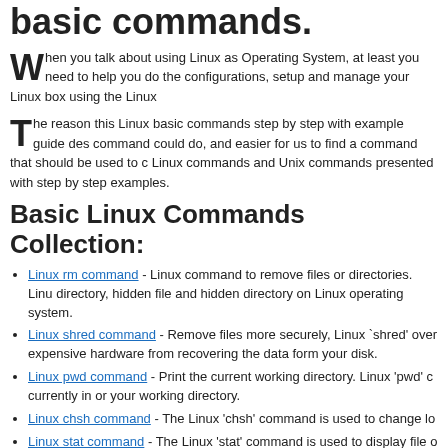basic commands.
When you talk about using Linux as Operating System, at least you need to help you do the configurations, setup and manage your Linux box using the Linux
The reason this Linux basic commands step by step with example guide des command could do, and easier for us to find a command that should be used to c Linux commands and Unix commands presented with step by step examples.
Basic Linux Commands Collection:
Linux rm command - Linux command to remove files or directories. Linu directory, hidden file and hidden directory on Linux operating system.
Linux shred command - Remove files more securely, Linux 'shred' over expensive hardware from recovering the data form your disk.
Linux pwd command - Print the current working directory. Linux 'pwd' c currently in or your working directory.
Linux chsh command - The Linux 'chsh' command is used to change lo
Linux stat command - The Linux 'stat' command is used to display file o prompt.
Linux alias command - Make a string of Linux command (long line of co command. Use the Linux alias command if you want to make log chain o
Linux cp command - Step by step on using cp command to copy files, fo operating system.
Copy contents of directory include hidden file and hidden dir the hidden files and the hidden directory inside the directory.
Linux mv command - Using mv command to moving files and folder, the or directory in Linux system.
Linux mkdir command - To make an directories (some say folder) in Lin